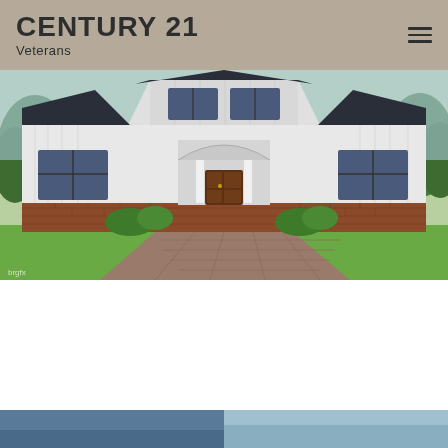CENTURY 21 Veterans
[Figure (photo): Rendering of a large two-story white and gray farmhouse-style home with brick foundation, dark roof, arched portico entry, paved driveway, and landscaping.]
$1,550,000
· Courtesy of Coldwell Banker Hearthside
Exemplary building package offered by custom Home builder- Milex Develop...
1040 Taylorsville Rd Unit #LOT 3, Washington Crossing
Listing courtesy of Coldwell Banker Hearthside.
[Figure (photo): Partial view of another property photo at the bottom of the page.]